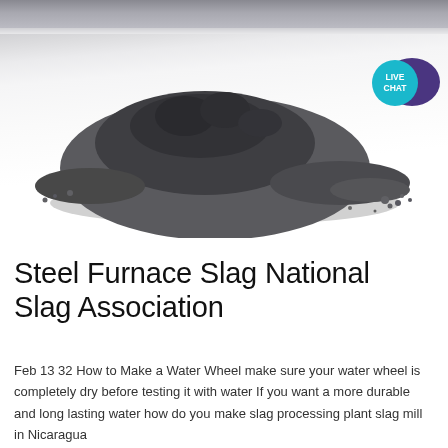[Figure (photo): A pile of dark gray steel furnace slag powder on a white surface, with a laboratory or industrial tray visible in the background. A teal 'LIVE CHAT' badge with a speech bubble icon is overlaid in the top-right corner.]
Steel Furnace Slag National Slag Association
Feb 13 32 How to Make a Water Wheel make sure your water wheel is completely dry before testing it with water If you want a more durable and long lasting water how do you make slag processing plant slag mill in Nicaragua